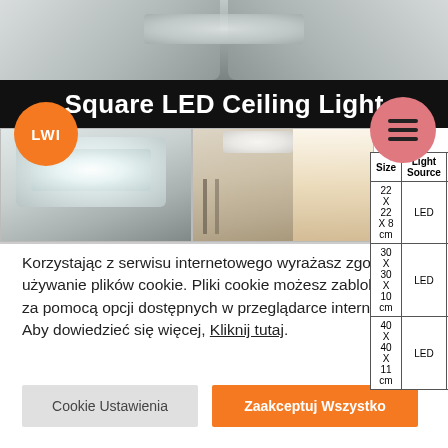[Figure (photo): Square LED Ceiling Light product page screenshot showing two product photos and a specifications table. Top photo shows ceiling corner with LED light panel installed. Left product photo shows bright LED ceiling light from below. Right product photo shows LED ceiling light installed in bedroom. An orange LWI logo circle is overlaid on the left, and a pink hamburger menu circle on the right.]
| Size | Light Source | Power |
| --- | --- | --- |
| 22 X 22 X 8 cm | LED | 12W |
| 30 X 30 X 10 cm | LED | 24W |
| 40 X 40 X 11 cm | LED | 36W |
Korzystając z serwisu internetowego wyrażasz zgodę na używanie plików cookie. Pliki cookie możesz zablokować za pomocą opcji dostępnych w przeglądarce internetowej. Aby dowiedzieć się więcej, Kliknij tutaj.
Cookie Ustawienia
Zaakceptuj Wszystko